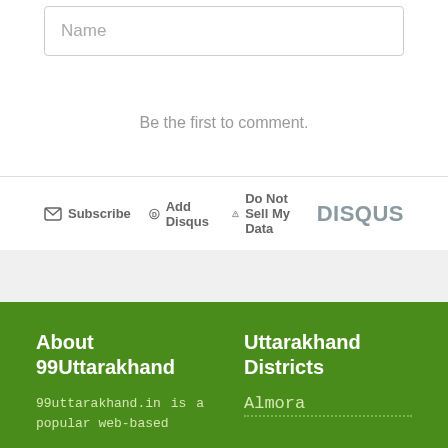Name
Be the first to comment.
Subscribe  Add Disqus  Do Not Sell My Data  DISQUS
About 99Uttarakhand
Uttarakhand Districts
99uttarakhand.in is a popular web-based
Almora